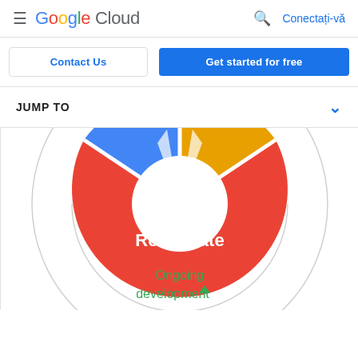Google Cloud — Conectați-vă
Contact Us | Get started for free
JUMP TO
[Figure (infographic): Circular diagram showing a cycle with colored segments. A large red segment labeled 'Remediate' is visible in the lower center, a blue segment on the upper left, and a yellow/golden segment on the upper right. Below the circle is text reading 'Ongoing development' with a green upward triangle arrow. The diagram appears to be a partially visible circular process cycle.]